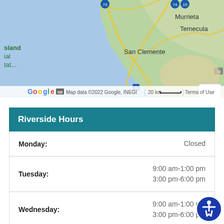[Figure (map): Google Maps view showing coastal Southern California area including San Clemente, Murrieta, and Temecula. Map data ©2022 Google, INEGI. Scale 20 km. Zoom in/out controls visible on right side.]
| Day | Hours |
| --- | --- |
| Monday: | Closed |
| Tuesday: | 9:00 am-1:00 pm
3:00 pm-6:00 pm |
| Wednesday: | 9:00 am-1:00 pm
3:00 pm-6:00 pm |